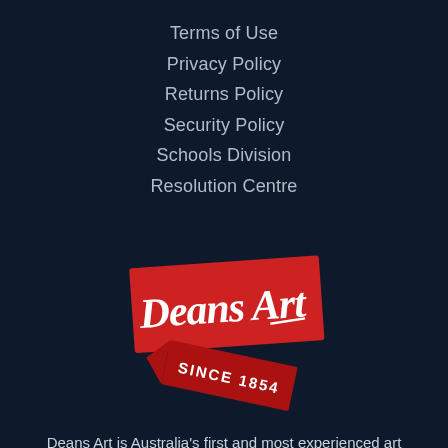Terms of Use
Privacy Policy
Returns Policy
Security Policy
Schools Division
Resolution Centre
[Figure (logo): Deans Art logo: red ribbon banner with white script text 'Deans Art' and a smaller red ribbon below with white text 'SINCE 1854']
Deans Art is Australia's first and most experienced art supply service operating since 1854.
Office: 03 9429 5761